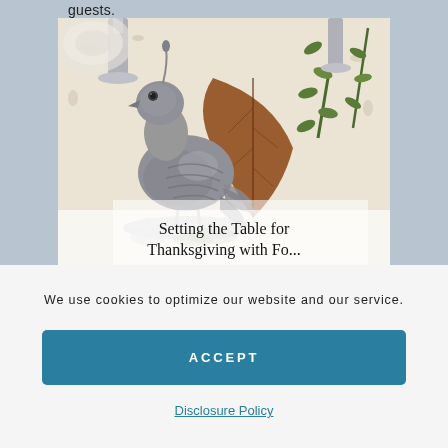guests.
[Figure (photo): A silver bird figurine (quail/partridge) on a decorated Thanksgiving table with floral patterned tablecloth, a large brown magnolia leaf, and green olive branches in the background. An overlay caption reads 'Setting the Table for Thanksgiving with...']
Setting the Table for
Thanksgiving with Fo...
We use cookies to optimize our website and our service.
ACCEPT
Disclosure Policy